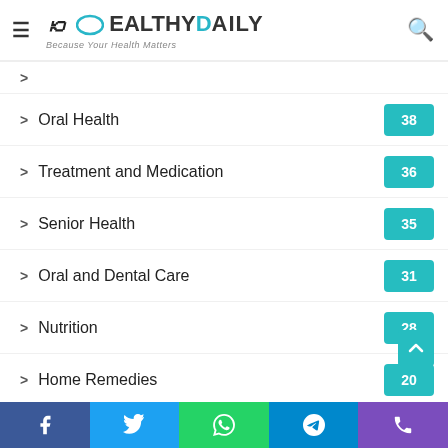Healthy Daily — Because Your Health Matters
Oral Health 38
Treatment and Medication 36
Senior Health 35
Oral and Dental Care 31
Nutrition 28
Home Remedies 20
Pregnancy 20
Joints and Muscles 19
Children's Health 18
Digestive Health
Hormones 15
Facebook Twitter WhatsApp Telegram Phone